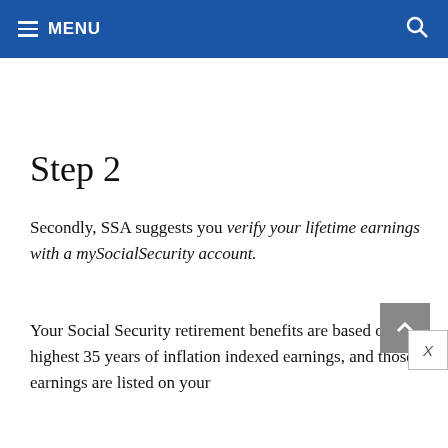MENU
Step 2
Secondly, SSA suggests you verify your lifetime earnings with a mySocialSecurity account.
Your Social Security retirement benefits are based on your highest 35 years of inflation indexed earnings, and those earnings are listed on your